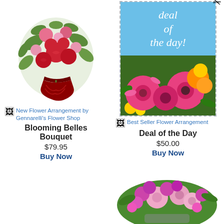[Figure (photo): Flower bouquet with red roses and pink flowers in a red vase]
[Figure (photo): Deal of the Day banner with dashed border, blue top with italic text 'deal of the day!' and colorful gerbera daisies below]
New Flower Arrangement by Gennarelli's Flower Shop
Blooming Belles Bouquet
$79.95
Buy Now
Best Seller Flower Arrangement
Deal of the Day
$50.00
Buy Now
[Figure (photo): Pink and purple flower arrangement with roses and alstroemeria]